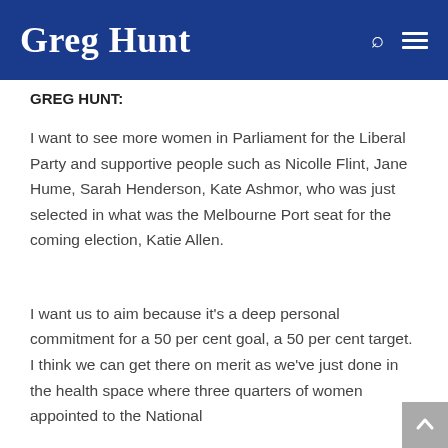Greg Hunt
GREG HUNT:
I want to see more women in Parliament for the Liberal Party and supportive people such as Nicolle Flint, Jane Hume, Sarah Henderson, Kate Ashmor, who was just selected in what was the Melbourne Port seat for the coming election, Katie Allen.
I want us to aim because it’s a deep personal commitment for a 50 per cent goal, a 50 per cent target. I think we can get there on merit as we’ve just done in the health space where three quarters of women appointed to the National